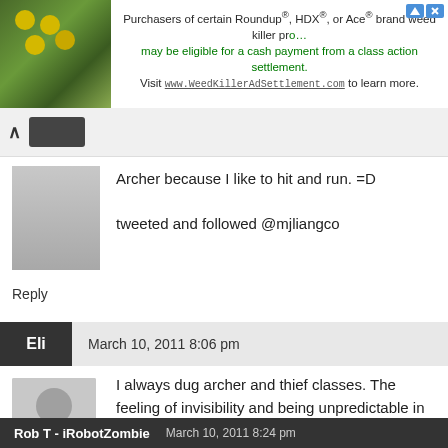[Figure (screenshot): Advertisement banner for WeedKillerAdSettlement.com class action lawsuit involving Roundup, HDX, and Ace brand weed killers]
Archer because I like to hit and run. =D

tweeted and followed @mjliangco
Reply
Eli   March 10, 2011 8:06 pm
I always dug archer and thief classes. The feeling of invisibility and being unpredictable in my approach brings me a lot of joy.
Rob T - iRobotZombie   March 10, 2011 8:24 pm